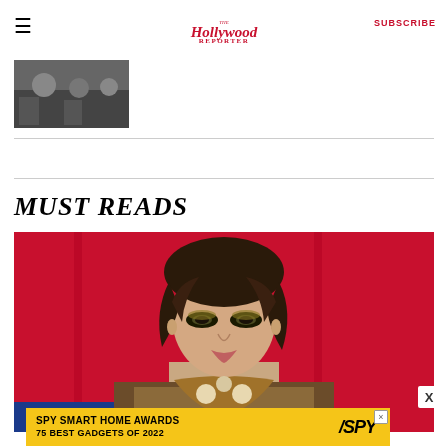The Hollywood Reporter | SUBSCRIBE
[Figure (photo): Small thumbnail photo strip showing people]
MUST READS
[Figure (photo): Close-up portrait photo of a person with dark wavy hair, dramatic eye makeup, wearing a fur coat and ornate necklace, against a red background]
[Figure (other): Advertisement banner: SPY SMART HOME AWARDS 75 BEST GADGETS OF 2022 with SPY logo on yellow background]